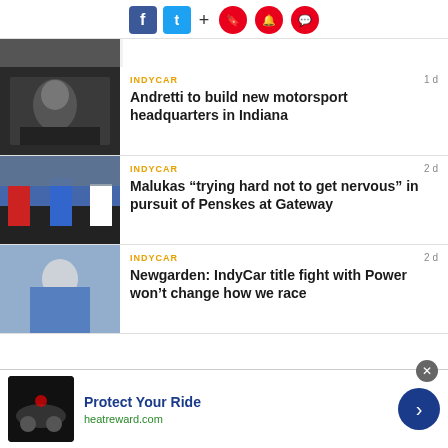[Figure (screenshot): Social media toolbar with Facebook, Twitter, plus sign, and three red circular icons (bookmark, bell, chat)]
[Figure (photo): Partial top strip photo of a racing car]
INDYCAR
1 d
Andretti to build new motorsport headquarters in Indiana
[Figure (photo): Three racing drivers on podium holding trophies]
INDYCAR
2 d
Malukas “trying hard not to get nervous” in pursuit of Penskes at Gateway
[Figure (photo): Young racing driver in blue suit and sunglasses]
INDYCAR
2 d
Newgarden: IndyCar title fight with Power won’t change how we race
[Figure (screenshot): Advertisement banner: Protect Your Ride, heatreward.com, with car photo and navigation arrow]